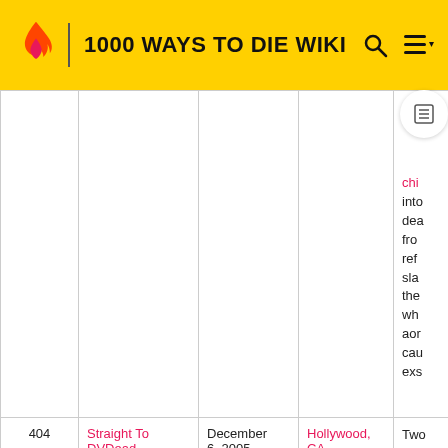1000 WAYS TO DIE WIKI
| # | Name | Date | Location | Description |
| --- | --- | --- | --- | --- |
|  |  |  |  | sha... chi... into... dea... fro... ref... sla... the... wh... aor... cau... exs... |
| 404 | Straight To DVDDead | December 6, 2005 | Hollywood, CA | Two... ree... Rev... due... |